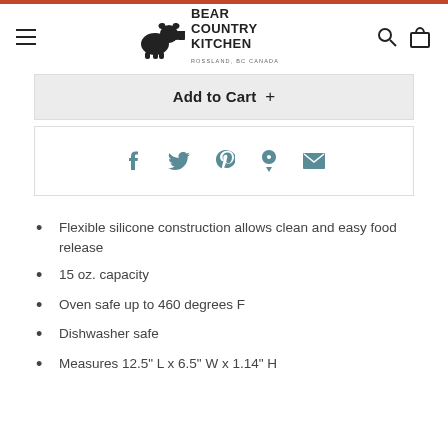Bear Country Kitchen — Rossland, BC Canada
Add to Cart +
[Figure (other): Social share icons: Facebook, Twitter, Pinterest, Fancy, Email]
Flexible silicone construction allows clean and easy food release
15 oz. capacity
Oven safe up to 460 degrees F
Dishwasher safe
Measures 12.5" L x 6.5" W x 1.14" H